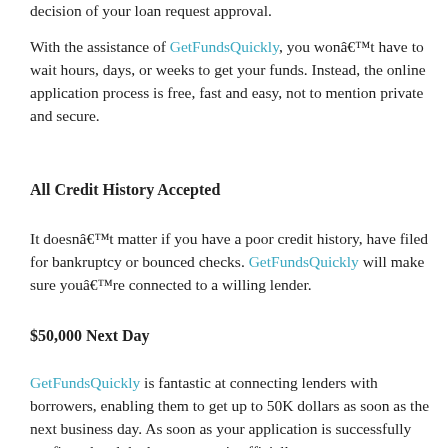decision of your loan request approval.
With the assistance of GetFundsQuickly, you wonâ€™t have to wait hours, days, or weeks to get your funds. Instead, the online application process is free, fast and easy, not to mention private and secure.
All Credit History Accepted
It doesnâ€™t matter if you have a poor credit history, have filed for bankruptcy or bounced checks. GetFundsQuickly will make sure youâ€™re connected to a willing lender.
$50,000 Next Day
GetFundsQuickly is fantastic at connecting lenders with borrowers, enabling them to get up to 50K dollars as soon as the next business day. As soon as your application is successfully confirmed and the loan request is officially